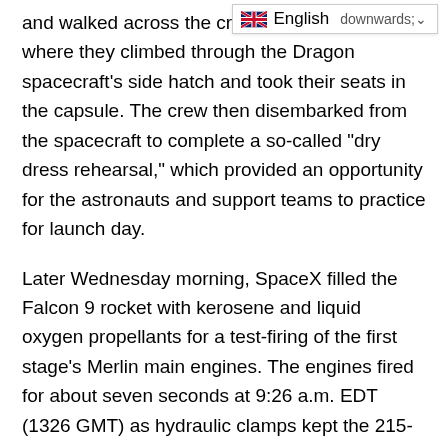The astronauts rode the elevator and walked across the crew access arm, where they climbed through the Dragon spacecraft's side hatch and took their seats in the capsule. The crew then disembarked from the spacecraft to complete a so-called "dry dress rehearsal," which provided an opportunity for the astronauts and support teams to practice for launch day.
Later Wednesday morning, SpaceX filled the Falcon 9 rocket with kerosene and liquid oxygen propellants for a test-firing of the first stage's Merlin main engines. The engines fired for about seven seconds at 9:26 a.m. EDT (1326 GMT) as hydraulic clamps kept the 215-foot-tall (65-meter) rocket on the ground.
SpaceX then drained the Falcon 9 of propellants, and engineers began reviewing data from the test-firing to make sure all rocket, spacecraft, and ground systems functioned